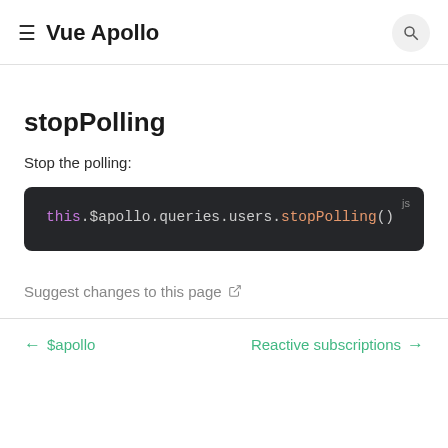Vue Apollo
stopPolling
Stop the polling:
[Figure (screenshot): Dark code block showing JavaScript: this.$apollo.queries.users.stopPolling()]
Suggest changes to this page
← $apollo    Reactive subscriptions →